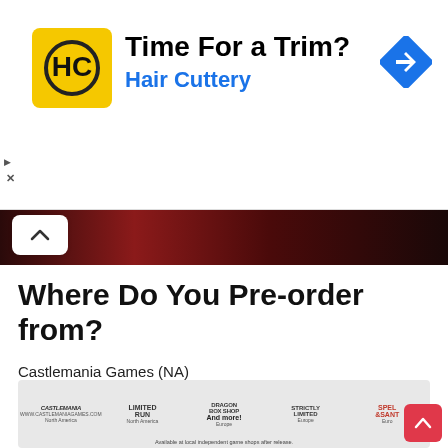[Figure (advertisement): Hair Cuttery ad banner with yellow HC logo, text 'Time For a Trim?' and 'Hair Cuttery' in blue, blue diamond navigation icon on right]
[Figure (photo): Dark red/brown decorative banner strip with collapse chevron button on left]
Where Do You Pre-order from?
Castlemania Games (NA)
Limited Run Games (NA)
Dragon Box Shop (EUR)
Strictly Limited Games (EUR)
Spel & Sant (EUR)
[Figure (infographic): Row of retailer logos: Castlemania (North America), Limited Run (North America), Dragon Box Shop (Europe), Strictly Limited (Europe), Spel & Sant (Europe). Text 'And more!' and 'Available at local independent game shops after release.']